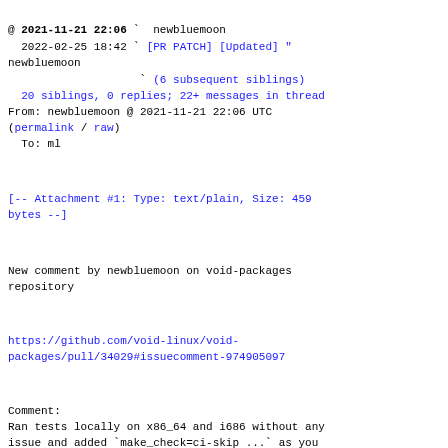@ 2021-11-21 22:06 ` newbluemoon
  2022-02-25 18:42 ` [PR PATCH] [Updated] "
newbluemoon
                    ` (6 subsequent siblings)
  20 siblings, 0 replies; 22+ messages in thread
From: newbluemoon @ 2021-11-21 22:06 UTC
(permalink / raw)
  To: ml
[-- Attachment #1: Type: text/plain, Size: 459 bytes --]
New comment by newbluemoon on void-packages repository
https://github.com/void-linux/void-packages/pull/34029#issuecomment-974905097
Comment:
Ran tests locally on x86_64 and i686 without any issue and added `make_check=ci-skip ...` as you suggested.
Also removed the temporary verbose test output for `perl-ModuleBuild`.
So I think now it should be really good to go. But I'll still try to figure out where those strange test failures come from... :)
^ permalink raw reply  [flat|nested] 22+ messages